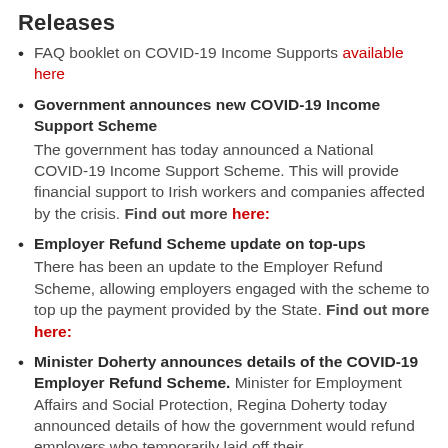Releases
FAQ booklet on COVID-19 Income Supports available here
Government announces new COVID-19 Income Support Scheme. The government has today announced a National COVID-19 Income Support Scheme. This will provide financial support to Irish workers and companies affected by the crisis. Find out more here:
Employer Refund Scheme update on top-ups. There has been an update to the Employer Refund Scheme, allowing employers engaged with the scheme to top up the payment provided by the State. Find out more here:
Minister Doherty announces details of the COVID-19 Employer Refund Scheme. Minister for Employment Affairs and Social Protection, Regina Doherty today announced details of how the government would refund employers who temporarily laid off their